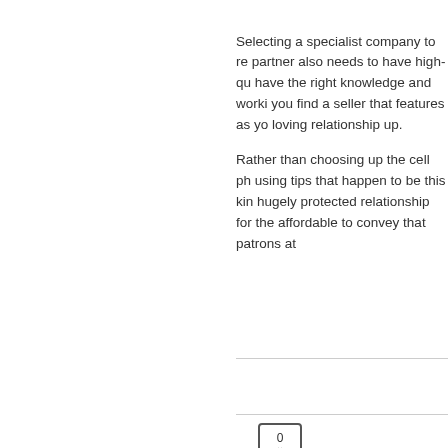Selecting a specialist company to re partner also needs to have high-qu have the right knowledge and worki you find a seller that features as yo loving relationship up.

Rather than choosing up the cell ph using tips that happen to be this kin hugely protected relationship for the affordable to convey that patrons at
[Figure (other): A like/vote button UI element showing '0' with a heart icon below, enclosed in a rounded rectangle border]